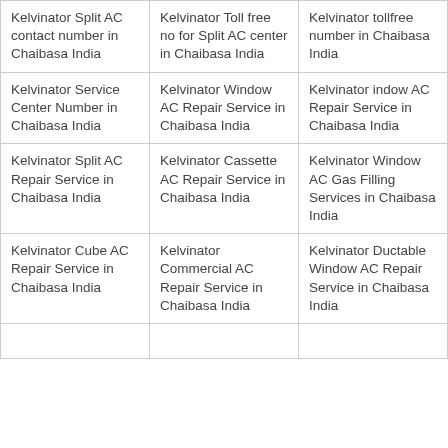| Kelvinator Split AC contact number in Chaibasa India | Kelvinator Toll free no for Split AC center in Chaibasa India | Kelvinator tollfree number in Chaibasa India |
| Kelvinator Service Center Number in Chaibasa India | Kelvinator Window AC Repair Service in Chaibasa India | Kelvinator indow AC Repair Service in Chaibasa India |
| Kelvinator Split AC Repair Service in Chaibasa India | Kelvinator Cassette AC Repair Service in Chaibasa India | Kelvinator Window AC Gas Filling Services in Chaibasa India |
| Kelvinator Cube AC Repair Service in Chaibasa India | Kelvinator Commercial AC Repair Service in Chaibasa India | Kelvinator Ductable Window AC Repair Service in Chaibasa India |
|  |  |  |